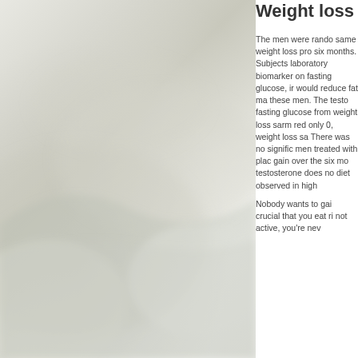[Figure (photo): Misty/foggy abstract background image with soft grey-green tones, appearing like a hazy atmospheric or nature photograph]
Weight loss
The men were randomly assigned to the same weight loss program and followed for six months. Subjects were followed up on laboratory biomarkers, with an emphasis on fasting glucose, in order to determine if it would reduce fat mass and increase muscle in these men. The testosterone reduced fasting glucose from the baseline and the weight loss sarm reduced fasting glucose by only 0, weight loss sarms. There was no significant change seen in men treated with placebo, nor any muscle gain over the six months. This shows that testosterone does not appear to influence diet observed in high
Nobody wants to gain fat, but it's crucial that you eat ri not active, you're nev